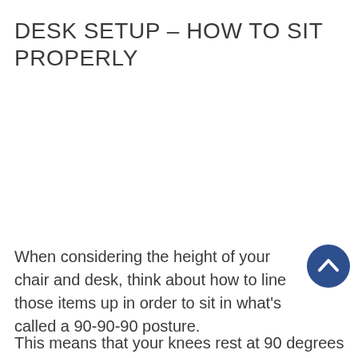DESK SETUP – HOW TO SIT PROPERLY
[Figure (other): White blank image area placeholder for desk setup illustration]
When considering the height of your chair and desk, think about how to line those items up in order to sit in what's called a 90-90-90 posture.
This means that your knees rest at 90 degrees on the